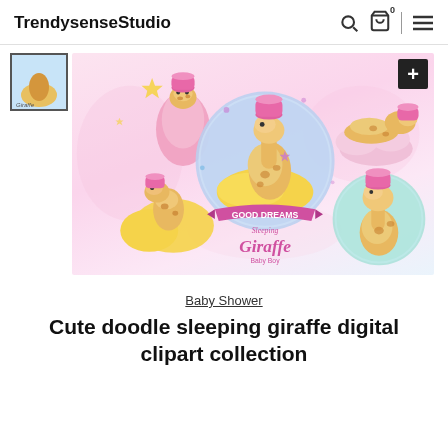TrendysenseStudio
[Figure (illustration): Product listing image showing cute doodle sleeping giraffe clipart collection with pink theme - multiple giraffe illustrations including one hanging in pink sack, one sleeping on moon, one on cloud, one in teal circle, with 'Good Dreams Sleeping Giraffe Baby Boy' text]
Baby Shower
Cute doodle sleeping giraffe digital clipart collection